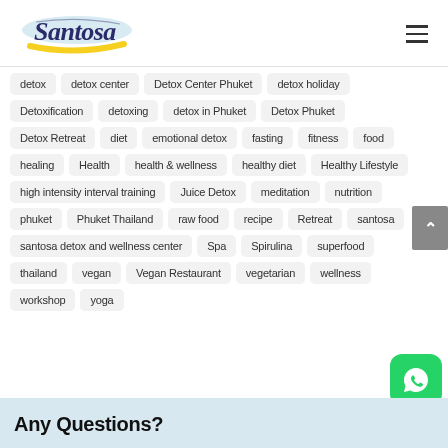Santosa
detox
detox center
Detox Center Phuket
detox holiday
Detoxification
detoxing
detox in Phuket
Detox Phuket
Detox Retreat
diet
emotional detox
fasting
fitness
food
healing
Health
health & wellness
healthy diet
Healthy Lifestyle
high intensity interval training
Juice Detox
meditation
nutrition
phuket
Phuket Thailand
raw food
recipe
Retreat
santosa
santosa detox and wellness center
Spa
Spirulina
superfood
thailand
vegan
Vegan Restaurant
vegetarian
wellness
workshop
yoga
Any Questions?